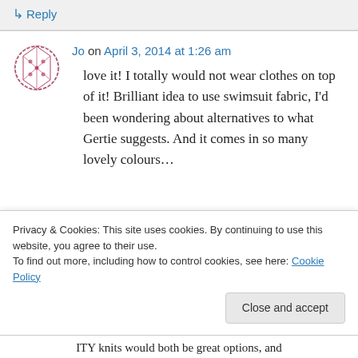↳ Reply
Jo on April 3, 2014 at 1:26 am
love it! I totally would not wear clothes on top of it! Brilliant idea to use swimsuit fabric, I'd been wondering about alternatives to what Gertie suggests. And it comes in so many lovely colours…
Privacy & Cookies: This site uses cookies. By continuing to use this website, you agree to their use.
To find out more, including how to control cookies, see here: Cookie Policy
Close and accept
ITY knits would both be great options, and